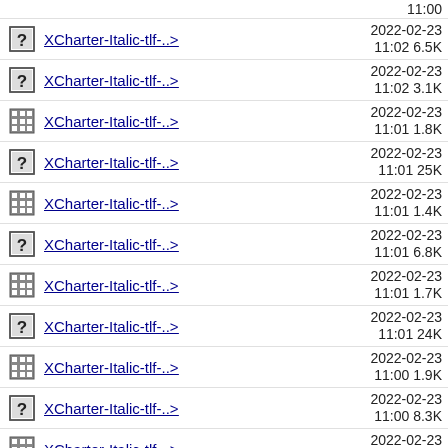XCharter-Italic-tlf-..> 2022-02-23 11:02 6.5K
XCharter-Italic-tlf-..> 2022-02-23 11:02 3.1K
XCharter-Italic-tlf-..> 2022-02-23 11:01 1.8K
XCharter-Italic-tlf-..> 2022-02-23 11:01 25K
XCharter-Italic-tlf-..> 2022-02-23 11:01 1.4K
XCharter-Italic-tlf-..> 2022-02-23 11:01 6.8K
XCharter-Italic-tlf-..> 2022-02-23 11:01 1.7K
XCharter-Italic-tlf-..> 2022-02-23 11:01 24K
XCharter-Italic-tlf-..> 2022-02-23 11:00 1.9K
XCharter-Italic-tlf-..> 2022-02-23 11:00 8.3K
XCharter-Italic-tlf-..> 2022-02-23 11:01 1.9K